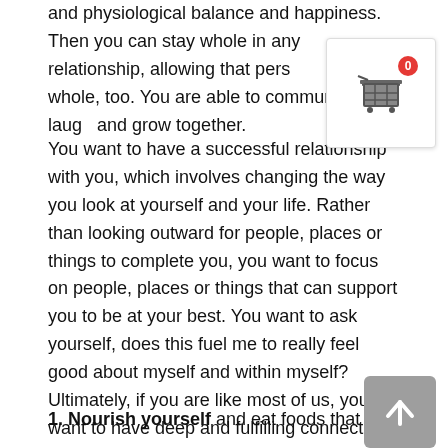and physiological balance and happiness. Then you can stay whole in any relationship, allowing that person to stay whole, too. You are able to communicate, laugh and grow together.
You want to have a successful relationship with you, which involves changing the way you look at yourself and your life. Rather than looking outward for people, places or things to complete you, you want to focus on people, places or things that can support you to be at your best. You want to ask yourself, does this fuel me to really feel good about myself and within myself? Ultimately, if you are like most of us, you want to have deep and fulfilling connections with others. This requires that you learn to have a deep connection with yourself, your desires and passions. Here are seven tips:
1. Nourish yourself and eat foods that fuel your mind and